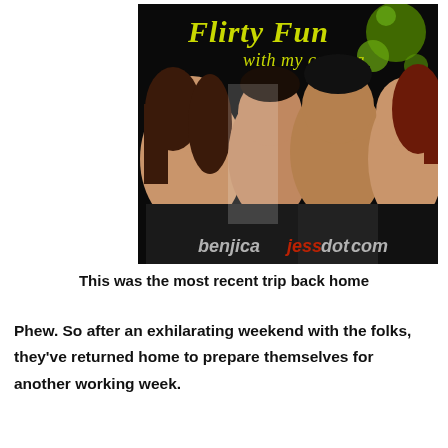[Figure (photo): A dark-themed photo collage titled 'Flirty Fun with my camera' showing four young people's faces against a black background with green bokeh circles. A watermark at the bottom reads 'benjicajess dot com'.]
This was the most recent trip back home
Phew. So after an exhilarating weekend with the folks, they've returned home to prepare themselves for another working week.